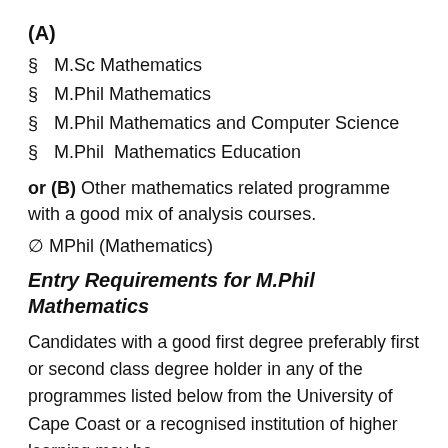(A)
§  M.Sc Mathematics
§  M.Phil Mathematics
§  M.Phil Mathematics and Computer Science
§  M.Phil  Mathematics Education
or (B) Other mathematics related programme with a good mix of analysis courses.
∅ MPhil (Mathematics)
Entry Requirements for M.Phil Mathematics
Candidates with a good first degree preferably first or second class degree holder in any of the programmes listed below from the University of Cape Coast or a recognised institution of higher learning may be